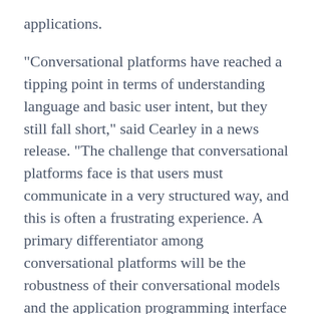applications.
"Conversational platforms have reached a tipping point in terms of understanding language and basic user intent, but they still fall short," said Cearley in a news release. "The challenge that conversational platforms face is that users must communicate in a very structured way, and this is often a frustrating experience. A primary differentiator among conversational platforms will be the robustness of their conversational models and the application programming interface (API) and event models used to access, invoke and orchestrate third-party services to deliver complex outcomes."
The next trend, virtual, augmented and mixed